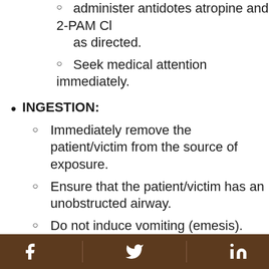administer antidotes atropine and 2-PAM Cl as directed.
Seek medical attention immediately.
INGESTION:
Immediately remove the patient/victim from the source of exposure.
Ensure that the patient/victim has an unobstructed airway.
Do not induce vomiting (emesis).
Administer nothing by mouth (NPO).
If the patient/victim’s condition can be evaluated within 30 minutes after ingestion, in a hospital setting, consider gastric lavage. Gastric contents should be considered potentially hazardous and
Facebook | Twitter | LinkedIn